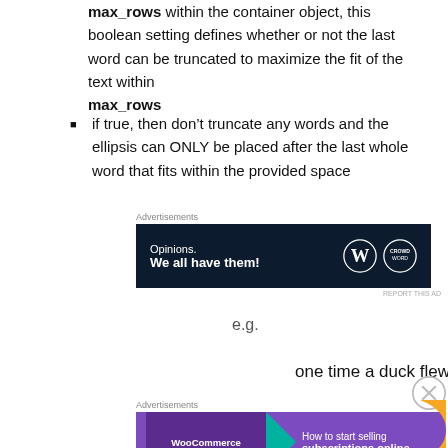max_rows within the container object, this boolean setting defines whether or not the last word can be truncated to maximize the fit of the text within max_rows
if true, then don't truncate any words and the ellipsis can ONLY be placed after the last whole word that fits within the provided space
[Figure (screenshot): Advertisement banner with dark navy background showing 'Opinions. We all have them!' with WordPress and Crowd logo icons]
e.g.
one time a duck flew
[Figure (screenshot): Advertisement banner for WooCommerce showing 'How to start selling subscriptions online' with purple background and arrow graphics]